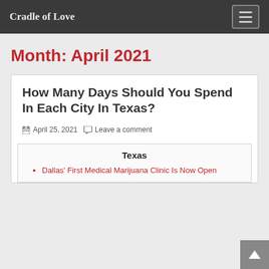Cradle of Love
Month: April 2021
How Many Days Should You Spend In Each City In Texas?
April 25, 2021   Leave a comment
Texas
Dallas' First Medical Marijuana Clinic Is Now Open